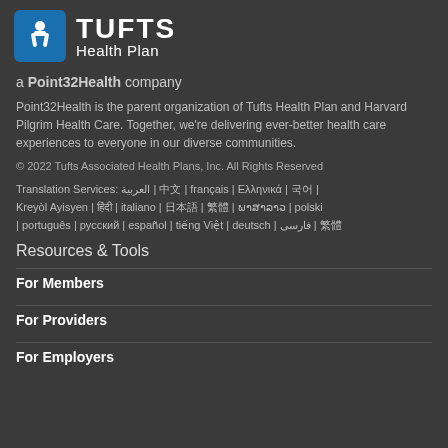[Figure (logo): Tufts Health Plan logo with blue icon and white text]
a Point32Health company
Point32Health is the parent organization of Tufts Health Plan and Harvard Pilgrim Health Care. Together, we're delivering ever-better health care experiences to everyone in our diverse communities.
© 2022 Tufts Associated Health Plans, Inc. All Rights Reserved
Translation Services: العربية | 中文 | français | Ελληνικά | 한국어 | Kreyòl Ayisyen | हिंदी | italiano | 日本語 | 繁體 | ພາສາລາວ | polski | português | русский | español | tiếng Việt | deutsch | فارسی | 繁體
Resources & Tools
For Members
For Providers
For Employers